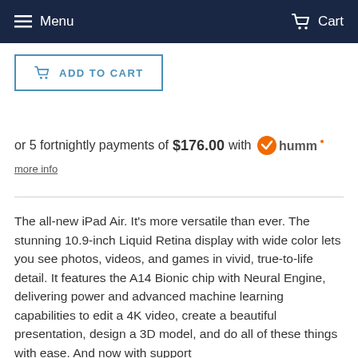Menu  Cart
ADD TO CART
or 5 fortnightly payments of $176.00 with humm
more info
The all-new iPad Air. It's more versatile than ever. The stunning 10.9-inch Liquid Retina display with wide color lets you see photos, videos, and games in vivid, true-to-life detail. It features the A14 Bionic chip with Neural Engine, delivering power and advanced machine learning capabilities to edit a 4K video, create a beautiful presentation, design a 3D model, and do all of these things with ease. And now with support